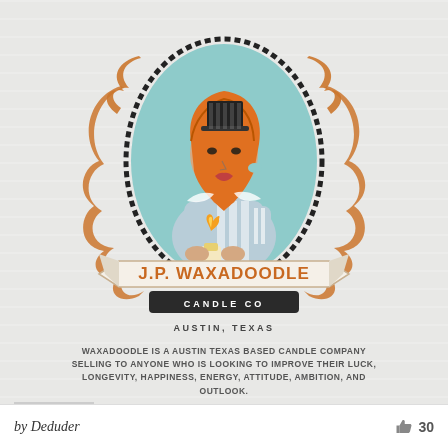[Figure (logo): J.P. Waxadoodle Candle Co logo featuring a Victorian-style woman with orange hair and top hat holding a candle, in an oval portrait frame with orange decorative scrollwork, banner ribbon with company name, and 'Austin, Texas' text below]
WAXADOODLE IS A AUSTIN TEXAS BASED CANDLE COMPANY SELLING TO ANYONE WHO IS LOOKING TO IMPROVE THEIR LUCK, LONGEVITY, HAPPINESS, ENERGY, ATTITUDE, AMBITION, AND OUTLOOK.
by Deduder   30